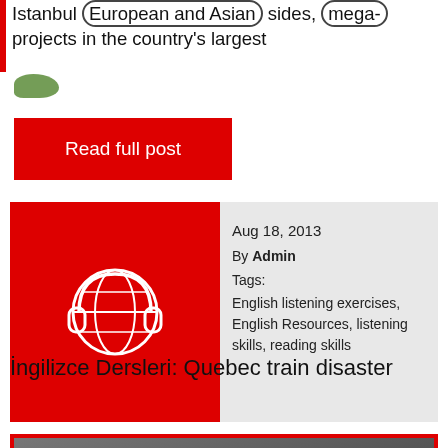Istanbul European and Asian sides, mega- projects in the country's largest
Read full post
[Figure (illustration): Red square card with a white line-art globe wearing headphones icon]
Aug 18, 2013
By Admin
Tags:
English listening exercises, English Resources, listening skills, reading skills
İngilizce Dersleri: Quebec train disaster
[Figure (screenshot): Video thumbnail showing a man and overlaid text: Tren kazasında taraflar bir, Proving 72 cars of crude oil, shortly before midnight on Friday in the town of Nantes about seven miles (11km) away.]